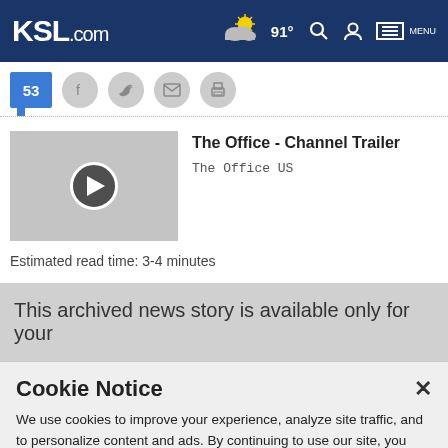KSL.com — 91° search account menu
[Figure (screenshot): Share bar with comment count 53 and social icons for Facebook, Twitter, email, and print]
[Figure (screenshot): Video thumbnail placeholder with play button circle icon]
The Office - Channel Trailer
The Office US
Estimated read time: 3-4 minutes
This archived news story is available only for your
Cookie Notice
We use cookies to improve your experience, analyze site traffic, and to personalize content and ads. By continuing to use our site, you consent to our use of cookies. Please visit our Terms of Use and  Privacy Policy for more information.